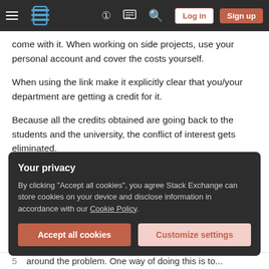Stack Exchange navigation bar with hamburger menu, logo, help, chat, search, Log in, Sign up
come with it. When working on side projects, use your personal account and cover the costs yourself.
When using the link make it explicitly clear that you/your department are getting a credit for it.
Because all the credits obtained are going back to the students and the university, the conflict of interest gets eliminated.
Share    answered Dec 30, 2015 at 18:28
Your privacy
By clicking "Accept all cookies", you agree Stack Exchange can store cookies on your device and disclose information in accordance with our Cookie Policy.
Accept all cookies    Customize settings
5   around the problem. One way of doing this is to...